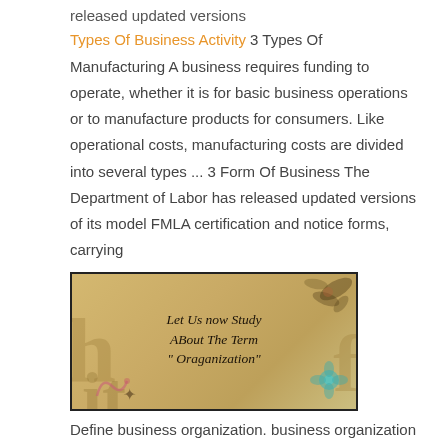released updated versions
Types Of Business Activity 3 Types Of Manufacturing A business requires funding to operate, whether it is for basic business operations or to manufacture products for consumers. Like operational costs, manufacturing costs are divided into several types ... 3 Form Of Business The Department of Labor has released updated versions of its model FMLA certification and notice forms, carrying
[Figure (illustration): Decorative image with text overlay: 'Let Us now Study ABout The Term " Oraganization"' on a parchment-style background with floral decorations and large faded letters 'h', 'it.' in the background.]
Define business organization. business organization synonyms,